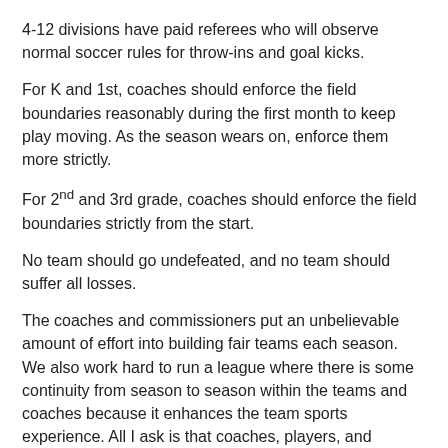4-12 divisions have paid referees who will observe normal soccer rules for throw-ins and goal kicks.
For K and 1st, coaches should enforce the field boundaries reasonably during the first month to keep play moving. As the season wears on, enforce them more strictly.
For 2nd and 3rd grade, coaches should enforce the field boundaries strictly from the start.
No team should go undefeated, and no team should suffer all losses.
The coaches and commissioners put an unbelievable amount of effort into building fair teams each season. We also work hard to run a league where there is some continuity from season to season within the teams and coaches because it enhances the team sports experience. All I ask is that coaches, players, and parents remember what this is about ... being part of a community. If we need to make adjustments, we can ... but the most important thing is to experience the spirit of competition and the sense of togetherness. Each of us can play an important role in creating a great atmosphere for our kids to thrive.